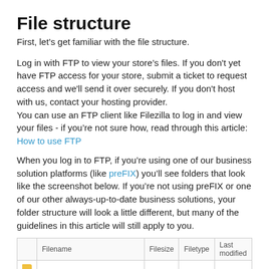File structure
First, let’s get familiar with the file structure.
Log in with FTP to view your store’s files. If you don't yet have FTP access for your store, submit a ticket to request access and we'll send it over securely. If you don't host with us, contact your hosting provider.
You can use an FTP client like Filezilla to log in and view your files - if you’re not sure how, read through this article: How to use FTP
When you log in to FTP, if you’re using one of our business solution platforms (like preFIX) you’ll see folders that look like the screenshot below. If you’re not using preFIX or one of our other always-up-to-date business solutions, your folder structure will look a little different, but many of the guidelines in this article will still apply to you.
| Filename | Filesize | Filetype | Last modified |
| --- | --- | --- | --- |
|  |  |  |  |